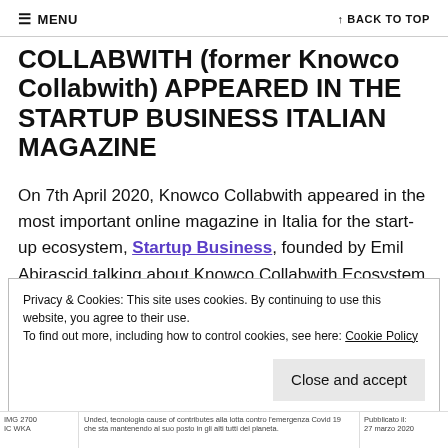≡ MENU   ↑ BACK TO TOP
COLLABWITH (former Knowco Collabwith) APPEARED IN THE STARTUP BUSINESS ITALIAN MAGAZINE
On 7th April 2020, Knowco Collabwith appeared in the most important online magazine in Italia for the start-up ecosystem, Startup Business, founded by Emil Abirascid talking about Knowco Collabwith Ecosystem for Covid19.
Privacy & Cookies: This site uses cookies. By continuing to use this website, you agree to their use.
To find out more, including how to control cookies, see here: Cookie Policy
Close and accept